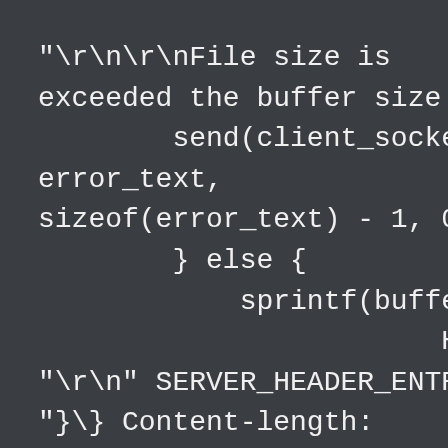"

File size is exceeded the buffer size.";
        send(client_socket,
error_text,
sizeof(error_text) - 1, 0);
        } else {
            sprintf(buffer,
                        HTTP_200
"
" SERVER_HEADER_ENTRY
"\} Content-length: